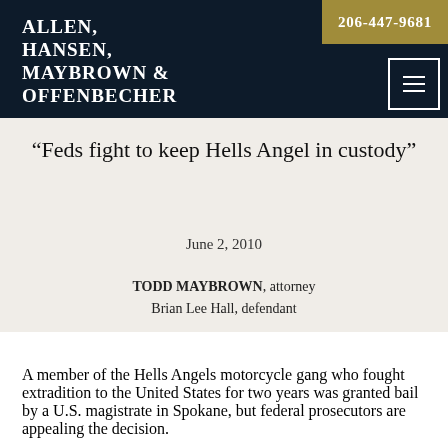ALLEN, HANSEN, MAYBROWN & OFFENBECHER | 206-447-9681
"Feds fight to keep Hells Angel in custody"
June 2, 2010
TODD MAYBROWN, attorney
Brian Lee Hall, defendant
A member of the Hells Angels motorcycle gang who fought extradition to the United States for two years was granted bail by a U.S. magistrate in Spokane, but federal prosecutors are appealing the decision.
Brian Lee Hall, 48, a long-time in the Spokane County...